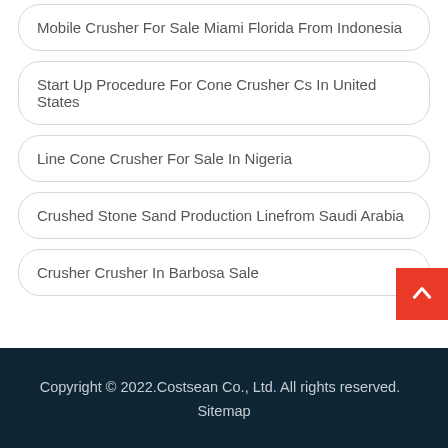Mobile Crusher For Sale Miami Florida From Indonesia
Start Up Procedure For Cone Crusher Cs In United States
Line Cone Crusher For Sale In Nigeria
Crushed Stone Sand Production Linefrom Saudi Arabia
Crusher Crusher In Barbosa Sale
Copyright © 2022.Costsean Co., Ltd. All rights reserved.   Sitemap